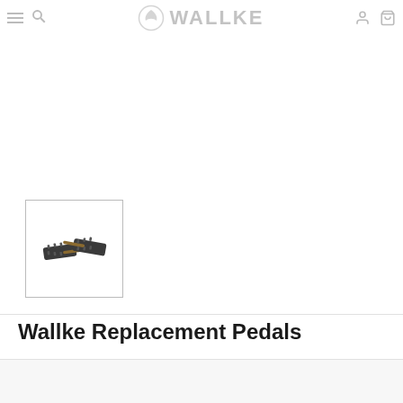WALLKE
[Figure (photo): Thumbnail image of Wallke Replacement Pedals - two black bicycle pedals with metal axles, shown crossed/overlapping]
Wallke Replacement Pedals
$45.00